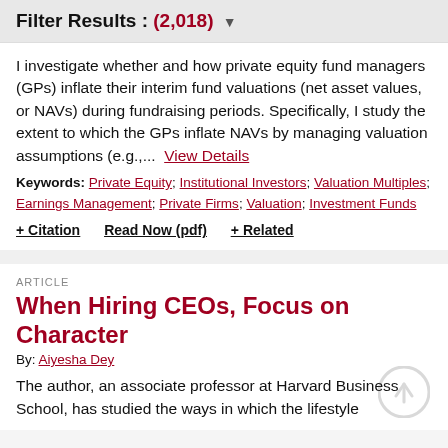Filter Results : (2,018) ▼
I investigate whether and how private equity fund managers (GPs) inflate their interim fund valuations (net asset values, or NAVs) during fundraising periods. Specifically, I study the extent to which the GPs inflate NAVs by managing valuation assumptions (e.g.,... View Details
Keywords: Private Equity; Institutional Investors; Valuation Multiples; Earnings Management; Private Firms; Valuation; Investment Funds
+ Citation   Read Now (pdf)   + Related
ARTICLE
When Hiring CEOs, Focus on Character
By: Aiyesha Dey
The author, an associate professor at Harvard Business School, has studied the ways in which the lifestyle